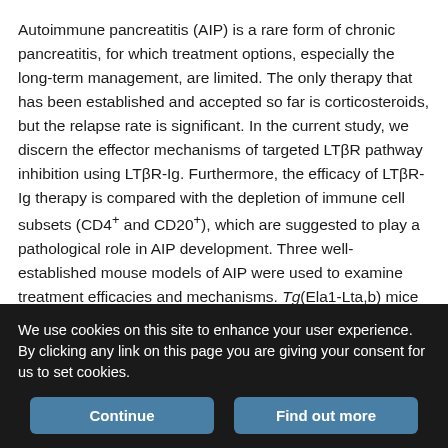Autoimmune pancreatitis (AIP) is a rare form of chronic pancreatitis, for which treatment options, especially the long-term management, are limited. The only therapy that has been established and accepted so far is corticosteroids, but the relapse rate is significant. In the current study, we discern the effector mechanisms of targeted LTβR pathway inhibition using LTβR-Ig. Furthermore, the efficacy of LTβR-Ig therapy is compared with the depletion of immune cell subsets (CD4+ and CD20+), which are suggested to play a pathological role in AIP development. Three well-established mouse models of AIP were used to examine treatment efficacies and mechanisms. Tg(Ela1-Lta,b) mice represent a genetic model, in which AIP develops spontaneously. In MRL/Mp and IL-10−/− mice, AIP is induced by
We use cookies on this site to enhance your user experience. By clicking any link on this page you are giving your consent for us to set cookies.
Continue | Find out more